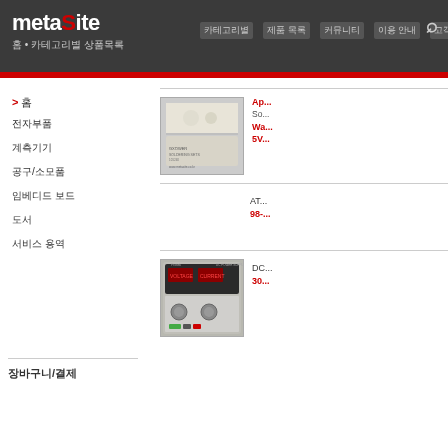metaSite navigation header with logo and menu items
> 홈
전자부품
계측기기
공구/소모품
임베디드 보드
도서
서비스 용역
장바구니/결제
[Figure (photo): Product photo: component kit in a bag with instruction sheet]
Ap... So... Wa... 5V...
[Figure (photo): No image placeholder for second product]
AT... 98-...
[Figure (photo): Product photo: DC power supply unit (Protek brand) with digital display]
DC... 30...